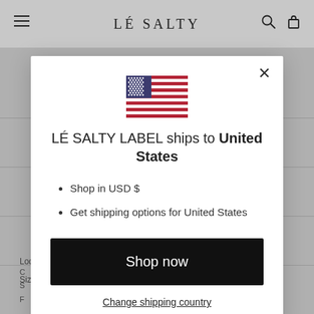LÉ SALTY
[Figure (screenshot): US flag emoji / illustration]
LÉ SALTY LABEL ships to United States
Shop in USD $
Get shipping options for United States
Shop now
Change shipping country
Lodge A Return
Size Guide